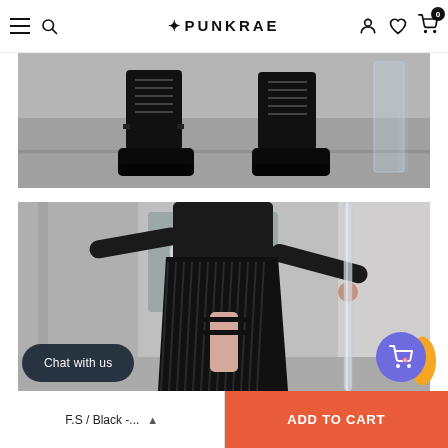PUNKRAE navigation header with hamburger menu, search icon, logo, account, wishlist, cart (0)
[Figure (photo): Close-up photo of black platform lace-up boots on a grey floor, photographed from mid-calf down]
[Figure (photo): Fashion photo of a model wearing a black long-sleeve top and black pleated asymmetric skirt with leg garter, holding a metal pole, against a concrete wall background]
Chat with us
F.S / Black -...
ADD TO CART